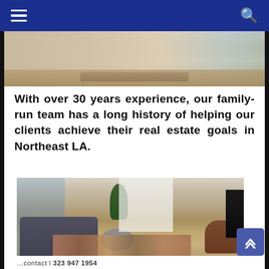Navigation bar with hamburger menu and search icon
[Figure (photo): Interior hallway or room with light hardwood floors, white walls, and a decorative rug, partially visible]
With over 30 years experience, our family-run team has a long history of helping our clients achieve their real estate goals in Northeast LA.
[Figure (photo): Bright living room interior with gray sofa, decorative pillows, silver round coffee table, patterned area rug, leather accent chairs, large windows with white curtains, potted plants, and a TV console]
Partial phone number or contact information visible at bottom